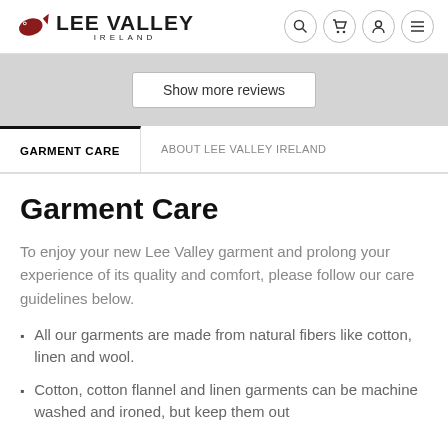LEE VALLEY IRELAND
Show more reviews
GARMENT CARE | ABOUT LEE VALLEY IRELAND
Garment Care
To enjoy your new Lee Valley garment and prolong your experience of its quality and comfort, please follow our care guidelines below.
All our garments are made from natural fibers like cotton, linen and wool.
Cotton, cotton flannel and linen garments can be machine washed and ironed, but keep them out